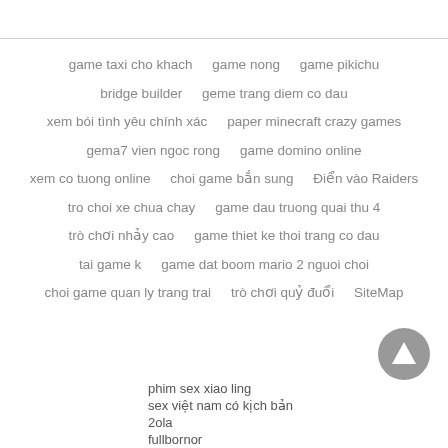game taxi cho khach   game nong   game pikichu
bridge builder   geme trang diem co dau
xem bói tình yêu chính xác   paper minecraft crazy games
gema7 vien ngoc rong   game domino online
xem co tuong online   choi game bắn sung   Điển vào Raiders
tro choi xe chua chay   game dau truong quai thu 4
trò chơi nhảy cao   game thiet ke thoi trang co dau
tai game k   game dat boom mario 2 nguoi choi
choi game quan ly trang trai   trò chơi quỷ đuổi   SiteMap
phim sex xiao ling
sex việt nam có kịch bản
2ola
fullbornor